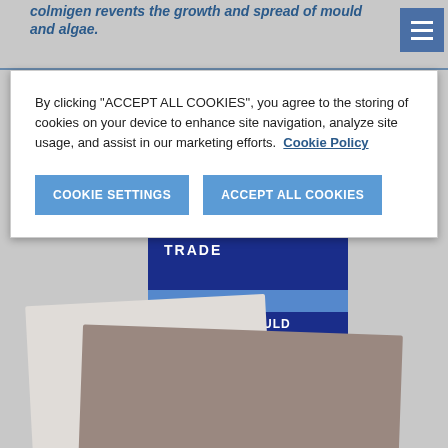colmigen revents the growth and spread of mould and algae.
By clicking “ACCEPT ALL COOKIES”, you agree to the storing of cookies on your device to enhance site navigation, analyze site usage, and assist in our marketing efforts.  Cookie Policy
COOKIE SETTINGS
ACCEPT ALL COOKIES
[Figure (photo): Armstead Trade paint can (blue, with ARMSTEAD TRADE branding and ANTI MOULD label) with paint swatches in front, on a grey background]